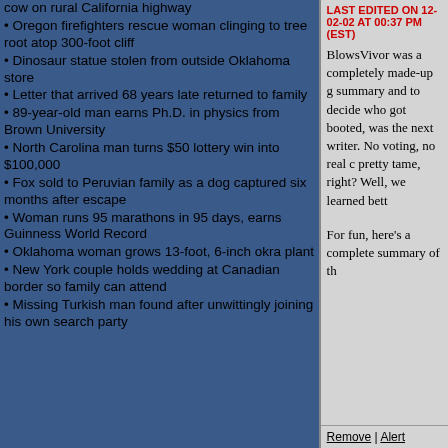cow on rural California highway
Oregon firefighters rescue woman clinging to tree root atop 300-foot cliff
Dinosaur statue stolen from outside Oklahoma store
Letter that arrived 68 years late returned to family
89-year-old man earns Ph.D. in physics from Brown University
North Carolina man turns $50 lottery win into $100,000
Fox sold to Peruvian family as a dog captured six months after escape
Woman runs 95 marathons in 95 days, earns Guinness World Record
Oklahoma woman grows 13-foot, 6-inch okra plant
New York couple holds wedding at Canadian border so family can attend
Missing Turkish man found after unwittingly joining his own search party
LAST EDITED ON 12-02-02 AT 00:37 PM (EST)
BlowsVivor was a completely made-up g summary and to decide who got booted, was the next writer. No voting, no real c pretty tame, right? Well, we learned bett
For fun, here's a complete summary of th
Remove | Alert